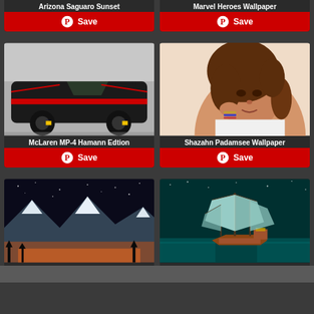Arizona Saguaro Sunset
Marvel Heroes Wallpaper
Save
Save
[Figure (photo): Black and red McLaren MP-4 Hamann Edition sports car on gray surface]
[Figure (photo): Young woman with long brown curly hair, wearing white top, with hand near face]
McLaren MP-4 Hamann Edtion
Shazahn Padamsee Wallpaper
Save
Save
[Figure (photo): Snow-covered mountain peaks at night with warm orange glow at base]
[Figure (photo): Fantasy tall sailing ship on dark teal ocean at night with starry sky]